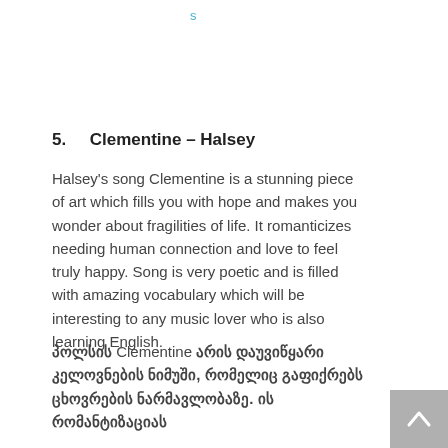s
5.    Clementine – Halsey
Halsey's song Clementine is a stunning piece of art which fills you with hope and makes you wonder about fragilities of life. It romanticizes needing human connection and love to feel truly happy. Song is very poetic and is filled with amazing vocabulary which will be interesting to any music lover who is also learning English.
პოლსის Clementine არის დაუვიწყარი კელოვნების ნიმუში, რომელიც გაფიქრებს ცხოვრების ნარმავლობაზე. ის რომანტიზაციას